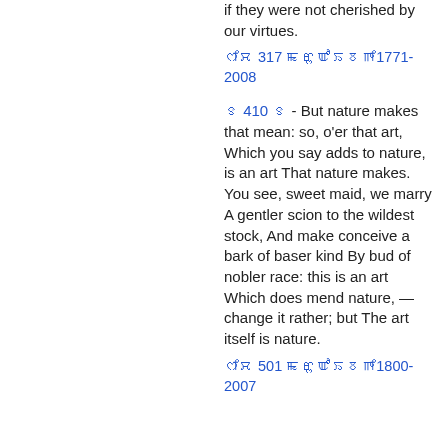if they were not cherished by our virtues.
ꯁꯤꯆ 317 ꯃꯔꯨꯑꯣꯏꯕꯒꯤ1771-2008
꯱ 410 ꯱ - But nature makes that mean: so, o'er that art, Which you say adds to nature, is an art That nature makes. You see, sweet maid, we marry A gentler scion to the wildest stock, And make conceive a bark of baser kind By bud of nobler race: this is an art Which does mend nature, — change it rather; but The art itself is nature.
ꯁꯤꯆ 501 ꯃꯔꯨꯑꯣꯏꯕꯒꯤ1800-2007